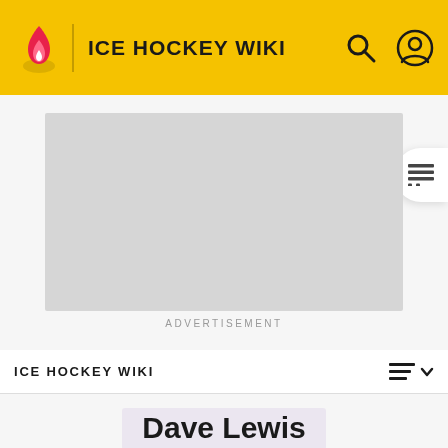ICE HOCKEY WIKI
[Figure (other): Advertisement placeholder (gray rectangle)]
ADVERTISEMENT
ICE HOCKEY WIKI
Dave Lewis
Dave Lewis
[Figure (photo): Photo of Dave Lewis, partially visible at bottom of page]